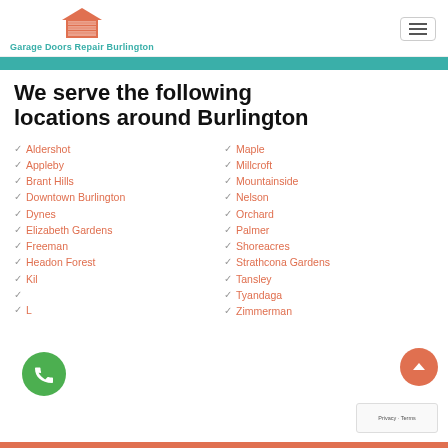Garage Doors Repair Burlington
We serve the following locations around Burlington
Aldershot
Appleby
Brant Hills
Downtown Burlington
Dynes
Elizabeth Gardens
Freeman
Headon Forest
Kil...
L...
Maple
Millcroft
Mountainside
Nelson
Orchard
Palmer
Shoreacres
Strathcona Gardens
Tansley
Tyandaga
Zimmerman